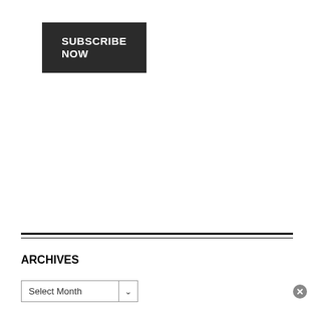SUBSCRIBE NOW
ARCHIVES
Select Month